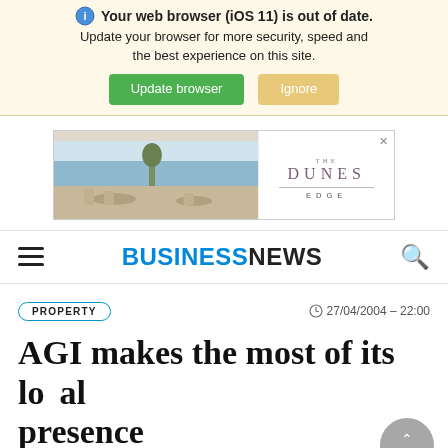Your web browser (iOS 11) is out of date. Update your browser for more security, speed and the best experience on this site. [Update browser] [Ignore]
[Figure (advertisement): The Dunes Edge advertisement banner with a photo of a restaurant/venue with ocean view on the left and the brand name 'DUNES EDGE' on the right]
BUSINESSNEWS (navigation bar with hamburger menu and search icon)
PROPERTY   27/04/2004 - 22:00
AGI makes the most of its local presence